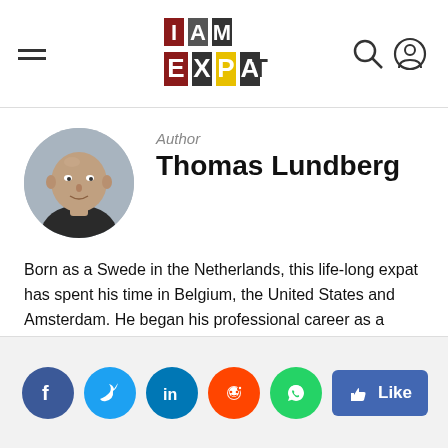I AM EXPAT
[Figure (photo): Circular profile photo of Thomas Lundberg, a bald man wearing a dark shirt]
Author
Thomas Lundberg
Born as a Swede in the Netherlands, this life-long expat has spent his time in Belgium, the United States and Amsterdam. He began his professional career as a regional news......
READ MORE
[Figure (infographic): Social media sharing icons: Facebook, Twitter, LinkedIn, Reddit, WhatsApp, and a Like button]